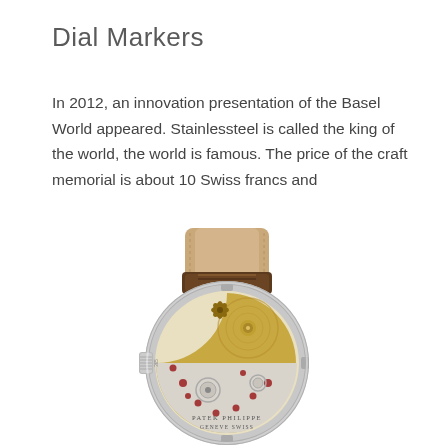Dial Markers
In 2012, an innovation presentation of the Basel World appeared. Stainlessteel is called the king of the world, the world is famous. The price of the craft memorial is about 10 Swiss francs and
[Figure (photo): Back view of a Patek Philippe watch showing the transparent case back with mechanical movement, gold rotor with Patek Philippe cross logo, and brown leather strap.]